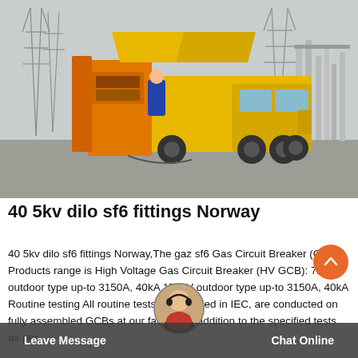[Figure (photo): Yellow utility/service truck with orange box equipment parked at an electrical substation. Power transmission towers and infrastructure visible in background. Grey overcast sky.]
40 5kv dilo sf6 fittings Norway
40 5kv dilo sf6 fittings Norway,The gaz sf6 Gas Circuit Breaker (GCB) Products range is High Voltage Gas Circuit Breaker (HV GCB): 72.5kV outdoor type up-to 3150A, 40kA 170kV outdoor type up-to 3150A, 40kA Routine testing All routine tests as specified in IEC, are conducted on fully assembled GCBs at our factory. In addition to the specified tests as per.